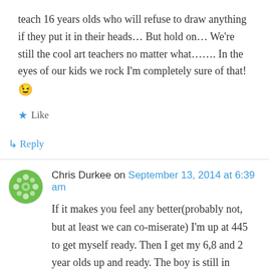teach 16 years olds who will refuse to draw anything if they put it in their heads… But hold on… We're still the cool art teachers no matter what……. In the eyes of our kids we rock I'm completely sure of that! 😉
★ Like
↳ Reply
Chris Durkee on September 13, 2014 at 6:39 am
If it makes you feel any better(probably not, but at least we can co-miserate) I'm up at 445 to get myself ready. Then I get my 6,8 and 2 year olds up and ready. The boy is still in diapers and the older girls need their hair done and dont even